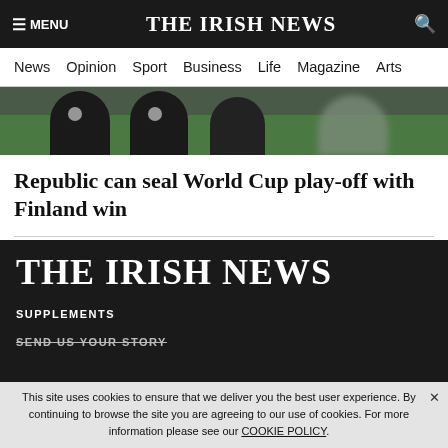MENU | THE IRISH NEWS | [search]
News  Opinion  Sport  Business  Life  Magazine  Arts
[Figure (photo): Cropped photo of soccer/football players in dark jerseys with Irish FAI crests, blurred green background]
Republic can seal World Cup play-off with Finland win
McGuigan: I'd refuse to play midweek championship games
[Figure (logo): THE IRISH NEWS large white serif logo on dark background]
SUPPLEMENTS
SEND US YOUR STORY
ABOUT US
This site uses cookies to ensure that we deliver you the best user experience. By continuing to browse the site you are agreeing to our use of cookies. For more information please see our COOKIE POLICY.